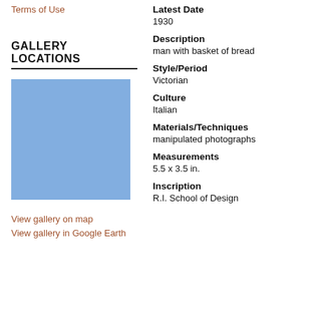Terms of Use
GALLERY LOCATIONS
[Figure (map): Blue rectangle representing a map placeholder for gallery locations]
View gallery on map
View gallery in Google Earth
Latest Date
1930
Description
man with basket of bread
Style/Period
Victorian
Culture
Italian
Materials/Techniques
manipulated photographs
Measurements
5.5 x 3.5 in.
Inscription
R.I. School of Design